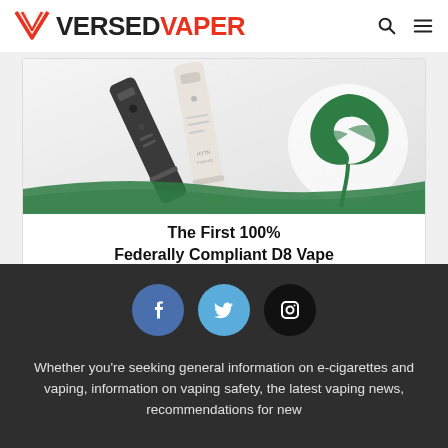VERSED VAPER
[Figure (photo): Advertisement banner for a D8 Vape product showing two vape devices (dark gray and cream/white) alongside a green cannabis leaf logo. Text reads: The First 100% Federally Compliant D8 Vape]
[Figure (infographic): Three social media icon circles: Facebook (blue), Twitter (light blue), Instagram (black)]
Whether you’re seeking general information on e-cigarettes and vaping, information on vaping safety, the latest vaping news, recommendations for new